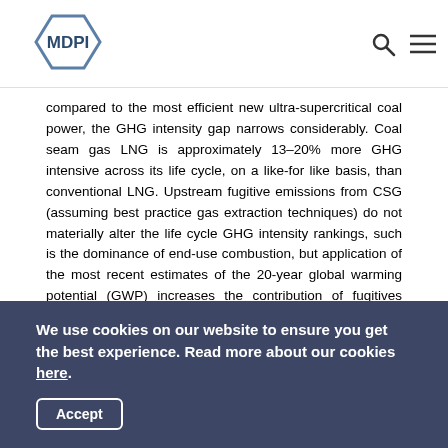MDPI
compared to the most efficient new ultra-supercritical coal power, the GHG intensity gap narrows considerably. Coal seam gas LNG is approximately 13–20% more GHG intensive across its life cycle, on a like-for like basis, than conventional LNG. Upstream fugitive emissions from CSG (assuming best practice gas extraction techniques) do not materially alter the life cycle GHG intensity rankings, such is the dominance of end-use combustion, but application of the most recent estimates of the 20-year global warming potential (GWP) increases the contribution of fugitives considerably if best practice fugitives management is not assumed. However, if methane leakage approaches the elevated levels recently reported in some US
We use cookies on our website to ensure you get the best experience. Read more about our cookies here.
Accept